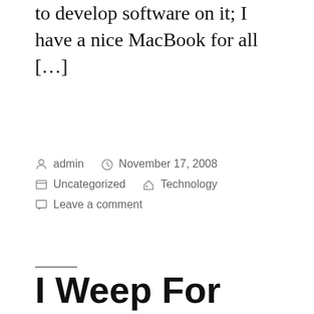to develop software on it; I have a nice MacBook for all […]
Posted by admin   November 17, 2008
Uncategorized   Technology
Leave a comment
I Weep For These People